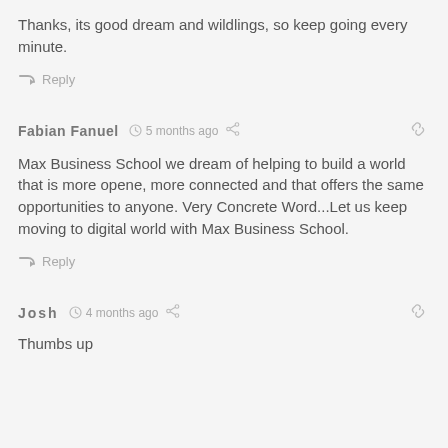Thanks, its good dream and wildlings, so keep going every minute.
↳ Reply
Fabian Fanuel  ⏱ 5 months ago  ≤  🔗
Max Business School we dream of helping to build a world that is more opene, more connected and that offers the same opportunities to anyone. Very Concrete Word...Let us keep moving to digital world with Max Business School.
↳ Reply
Josh  ⏱ 4 months ago  ≤  🔗
Thumbs up